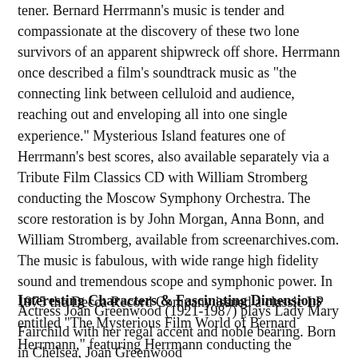tener. Bernard Herrmann's music is tender and compassionate at the discovery of these two lone survivors of an apparent shipwreck off shore. Herrmann once described a film's soundtrack music as "the connecting link between celluloid and audience, reaching out and enveloping all into one single experience." Mysterious Island features one of Herrmann's best scores, also available separately via a Tribute Film Classics CD with William Stromberg conducting the Moscow Symphony Orchestra. The score restoration is by John Morgan, Anna Bonn, and William Stromberg, available from screenarchives.com. The music is fabulous, with wide range high fidelity sound and tremendous scope and symphonic power. In 1975 the Decca Record Company issued a classic LP entitled "The Mysterious Film World of Bernard Herrmann," featuring Herrmann conducting the National Philharmonic Orchestra on a London Phase 4 Stereo disc, recorded at Kingsway Hall in London. Besides several selections from "Mysterious Island," this LP also includes music from Herrmann's scores for "Jason & The Argonauts" and "The Three Worlds of Gulliver."
Interesting Characters & Fascinating Dimensions
Actress Joan Greenwood (1921-1987) plays Lady Mary Fairchild with her regal accent and noble bearing. Born in Chelsea, Joan Greenwood